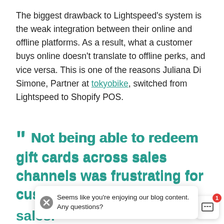The biggest drawback to Lightspeed's system is the weak integration between their online and offline platforms. As a result, what a customer buys online doesn't translate to offline perks, and vice versa. This is one of the reasons Juliana Di Simone, Partner at tokyobike, switched from Lightspeed to Shopify POS.
" Not being able to redeem gift cards across sales channels was frustrating for custo[mers and cost us] sales."
Seems like you're enjoying our blog content. Any questions?